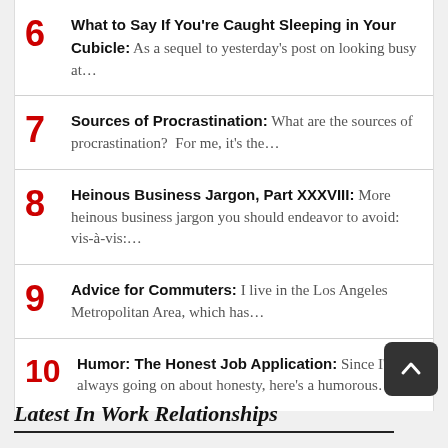6 What to Say If You're Caught Sleeping in Your Cubicle: As a sequel to yesterday's post on looking busy at…
7 Sources of Procrastination: What are the sources of procrastination?  For me, it's the…
8 Heinous Business Jargon, Part XXXVIII: More heinous business jargon you should endeavor to avoid: vis-à-vis:…
9 Advice for Commuters: I live in the Los Angeles Metropolitan Area, which has…
10 Humor: The Honest Job Application: Since I'm always going on about honesty, here's a humorous…
Latest In Work Relationships